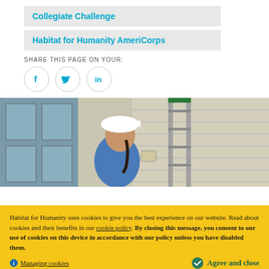Collegiate Challenge
Habitat for Humanity AmeriCorps
SHARE THIS PAGE ON YOUR:
[Figure (illustration): Three social media icon circles: Facebook (f), Twitter (bird), LinkedIn (in)]
[Figure (photo): Woman wearing a white hard hat and blue shirt working on the exterior siding of a house, holding a tool, with a ladder behind her]
Habitat for Humanity uses cookies to give you the best experience on our website. Read about cookies and their benefits in our cookie policy. By closing this message, you consent to our use of cookies on this device in accordance with our policy unless you have disabled them.
Managing cookies
Agree and close